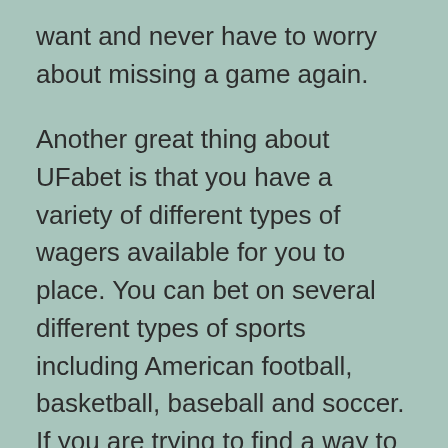want and never have to worry about missing a game again.
Another great thing about UFabet is that you have a variety of different types of wagers available for you to place. You can bet on several different types of sports including American football, basketball, baseball and soccer. If you are trying to find a way to make your betting experience a little bit easier, you should look into playing on an online betting agent site. You can easily find an online gambling site that is specific to offer you betting services and all of the different types of